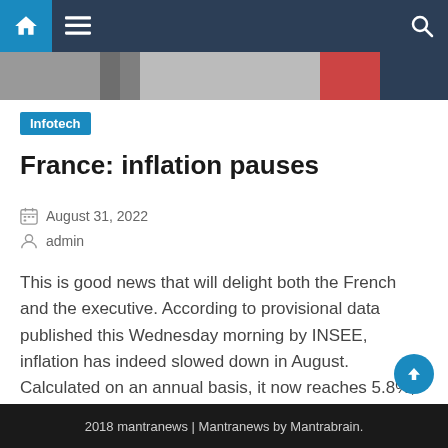Infotech
France: inflation pauses
August 31, 2022
admin
This is good news that will delight both the French and the executive. According to provisional data published this Wednesday morning by INSEE, inflation has indeed slowed down in August. Calculated on an annual basis, it now reaches 5.8%, much less than the 6.1% recorded a month earlier and which marked a historic high. While [...]
2018 mantranews | Mantranews by Mantrabrain.